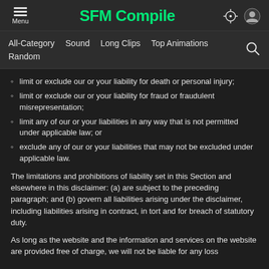SFM Compile
limit or exclude our or your liability for death or personal injury;
limit or exclude our or your liability for fraud or fraudulent misrepresentation;
limit any of our or your liabilities in any way that is not permitted under applicable law; or
exclude any of our or your liabilities that may not be excluded under applicable law.
The limitations and prohibitions of liability set in this Section and elsewhere in this disclaimer: (a) are subject to the preceding paragraph; and (b) govern all liabilities arising under the disclaimer, including liabilities arising in contract, in tort and for breach of statutory duty.
As long as the website and the information and services on the website are provided free of charge, we will not be liable for any loss